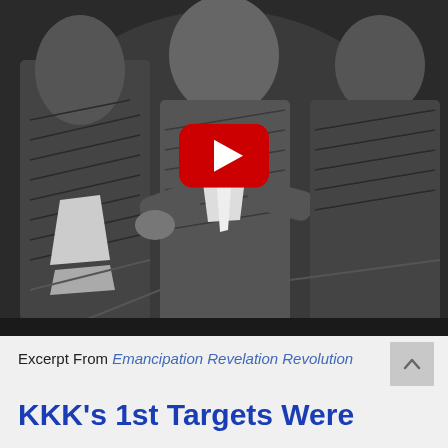[Figure (photo): Black and white historical photograph showing figures in period clothing, displayed as a YouTube video thumbnail with a red play button in the center.]
Excerpt From Emancipation Revelation Revolution
KKK's 1st Targets Were